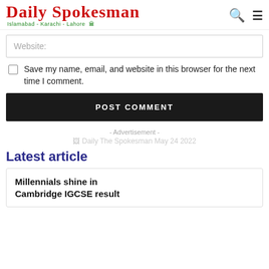Daily Spokesman — Islamabad - Karachi - Lahore
Website:
Save my name, email, and website in this browser for the next time I comment.
POST COMMENT
- Advertisement -
[Figure (other): Daily The Spokesman May 24 2022 advertisement image placeholder]
Latest article
Millennials shine in Cambridge IGCSE result